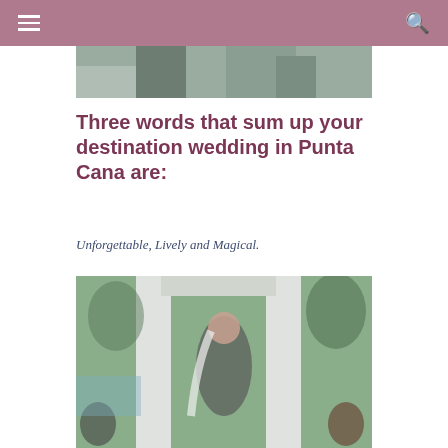navigation bar with hamburger menu and search icon
[Figure (photo): Top cropped wedding photo showing people at a ceremony]
Three words that sum up your destination wedding in Punta Cana are:
Unforgettable, Lively and Magical.
[Figure (photo): Wedding ceremony photo showing bride and groom kissing under a white draped arch with guests seated]